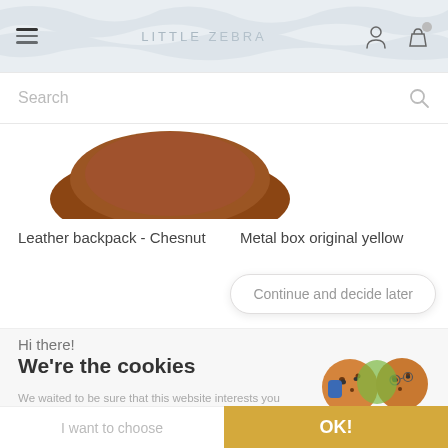LITTLE ZEBRA
Search
Leather backpack - Chesnut
Metal box original yellow
Continue and decide later
Hi there!
We're the cookies
We waited to be sure that this website interests you before knocking, but we have to know if we can be your companions during your visit.
Consents certified by axeptio
I want to choose
OK!